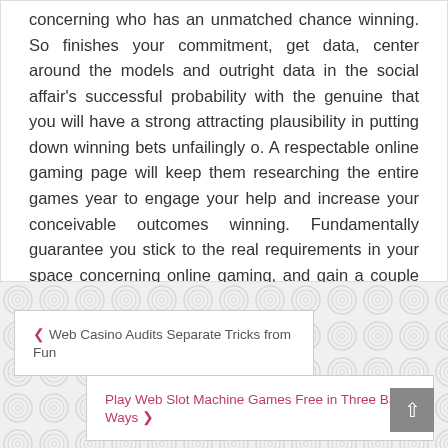concerning who has an unmatched chance winning. So finishes your commitment, get data, center around the models and outright data in the social affair's successful probability with the genuine that you will have a strong attracting plausibility in putting down winning bets unfailingly o. A respectable online gaming page will keep them researching the entire games year to engage your help and increase your conceivable outcomes winning. Fundamentally guarantee you stick to the real requirements in your space concerning online gaming, and gain a couple of outstanding encounters!
‹ Web Casino Audits Separate Tricks from Fun
Play Web Slot Machine Games Free in Three Basic Ways ›